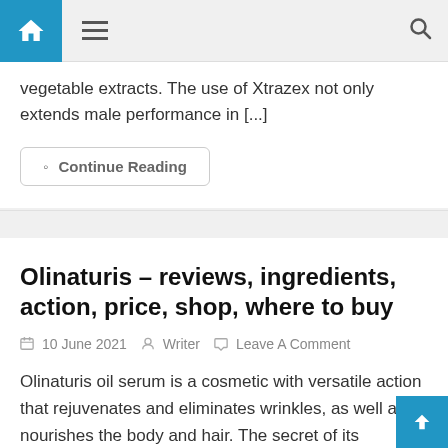Navigation bar with home icon, hamburger menu, and search icon
vegetable extracts. The use of Xtrazex not only extends male performance in [...]
Continue Reading
Olinaturis – reviews, ingredients, action, price, shop, where to buy
10 June 2021   Writer   Leave A Comment
Olinaturis oil serum is a cosmetic with versatile action that rejuvenates and eliminates wrinkles, as well as nourishes the body and hair. The secret of its operation is a very rich composition, full of oils and extracts. 4 advantages of Olinaturis Natural blend of oils and